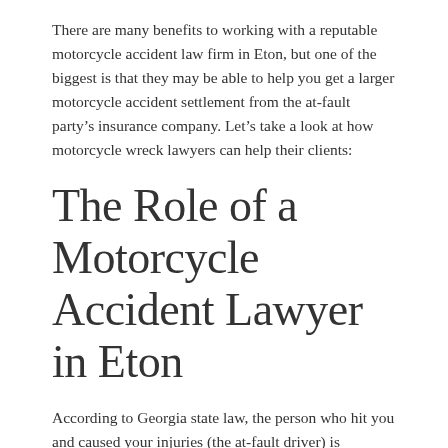There are many benefits to working with a reputable motorcycle accident law firm in Eton, but one of the biggest is that they may be able to help you get a larger motorcycle accident settlement from the at-fault party's insurance company. Let's take a look at how motorcycle wreck lawyers can help their clients:
The Role of a Motorcycle Accident Lawyer in Eton
According to Georgia state law, the person who hit you and caused your injuries (the at-fault driver) is responsible for paying any damages they caused. If multiple parties are responsible for the accident, they may share legal responsibility. This means that each